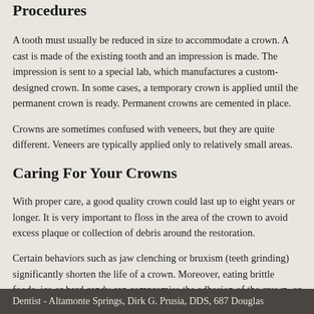Procedures
A tooth must usually be reduced in size to accommodate a crown. A cast is made of the existing tooth and an impression is made. The impression is sent to a special lab, which manufactures a custom-designed crown. In some cases, a temporary crown is applied until the permanent crown is ready. Permanent crowns are cemented in place.
Crowns are sometimes confused with veneers, but they are quite different. Veneers are typically applied only to relatively small areas.
Caring For Your Crowns
With proper care, a good quality crown could last up to eight years or longer. It is very important to floss in the area of the crown to avoid excess plaque or collection of debris around the restoration.
Certain behaviors such as jaw clenching or bruxism (teeth grinding) significantly shorten the life of a crown. Moreover, eating brittle foods, ice or hard candy can compromise the adhesion of the crown, or even damage the crown.
Dentist - Altamonte Springs, Dirk G. Prusia, DDS, 687 Douglas